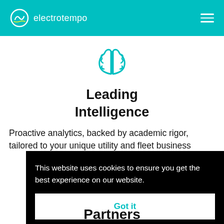electrotempo
[Figure (illustration): Teal outline brain icon centered on white background]
Leading Intelligence
Proactive analytics, backed by academic rigor, tailored to your unique utility and fleet business
This website uses cookies to ensure you get the best experience on our website.
Got it
Partners